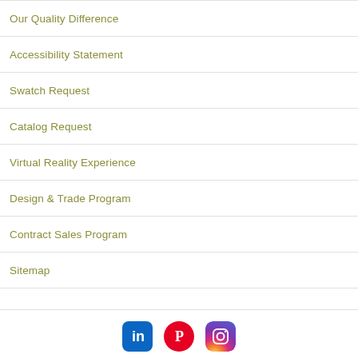Our Quality Difference
Accessibility Statement
Swatch Request
Catalog Request
Virtual Reality Experience
Design & Trade Program
Contract Sales Program
Sitemap
[Figure (logo): Social media icons: LinkedIn, Pinterest, Instagram]